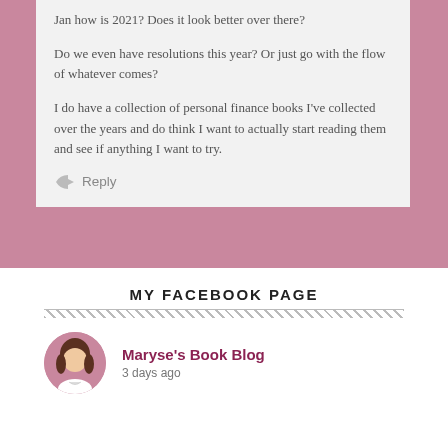Jan how is 2021? Does it look better over there?
Do we even have resolutions this year? Or just go with the flow of whatever comes?
I do have a collection of personal finance books I've collected over the years and do think I want to actually start reading them and see if anything I want to try.
Reply
MY FACEBOOK PAGE
Maryse's Book Blog
3 days ago